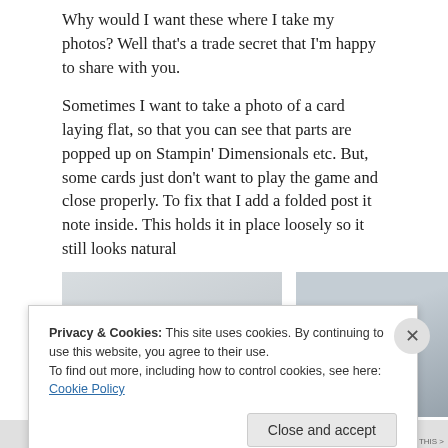Why would I want these where I take my photos? Well that's a trade secret that I'm happy to share with you.
Sometimes I want to take a photo of a card laying flat, so that you can see that parts are popped up on Stampin' Dimensionals etc. But, some cards just don't want to play the game and close properly. To fix that I add a folded post it note inside. This holds it in place loosely so it still looks natural
[Figure (photo): Two side-by-side photos, partially visible. Left photo shows a light grey surface, right photo shows a grey surface with a slight darker diagonal gradient.]
Privacy & Cookies: This site uses cookies. By continuing to use this website, you agree to their use.
To find out more, including how to control cookies, see here: Cookie Policy